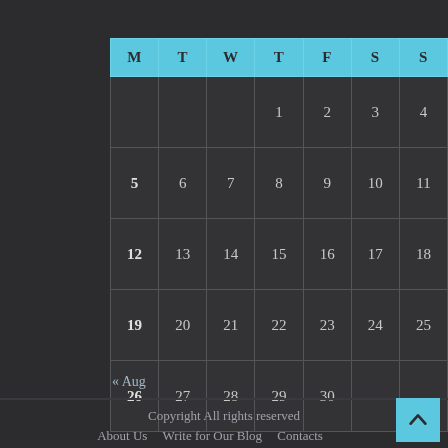| M | T | W | T | F | S | S |
| --- | --- | --- | --- | --- | --- | --- |
|  |  |  | 1 | 2 | 3 | 4 |
| 5 | 6 | 7 | 8 | 9 | 10 | 11 |
| 12 | 13 | 14 | 15 | 16 | 17 | 18 |
| 19 | 20 | 21 | 22 | 23 | 24 | 25 |
| 26 | 27 | 28 | 29 | 30 |  |  |
« Aug
Copyright All rights reserved
About Us   Write for Our Blog   Contacts